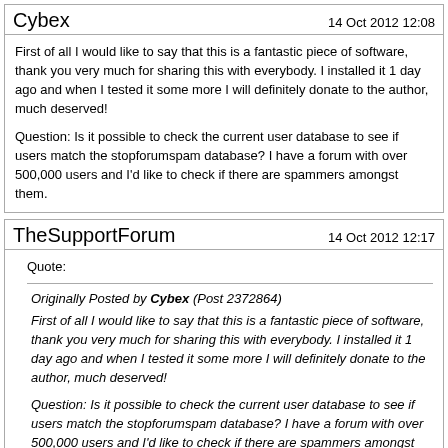Cybex
14 Oct 2012 12:08
First of all I would like to say that this is a fantastic piece of software, thank you very much for sharing this with everybody. I installed it 1 day ago and when I tested it some more I will definitely donate to the author, much deserved!
Question: Is it possible to check the current user database to see if users match the stopforumspam database? I have a forum with over 500,000 users and I'd like to check if there are spammers amongst them.
TheSupportForum
14 Oct 2012 12:17
Quote:
Originally Posted by Cybex (Post 2372864)
First of all I would like to say that this is a fantastic piece of software, thank you very much for sharing this with everybody. I installed it 1 day ago and when I tested it some more I will definitely donate to the author, much deserved!
Question: Is it possible to check the current user database to see if users match the stopforumspam database? I have a forum with over 500,000 users and I'd like to check if there are spammers amongst them.